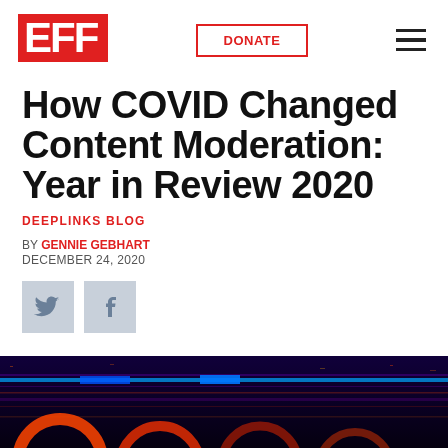EFF | DONATE
How COVID Changed Content Moderation: Year in Review 2020
DEEPLINKS BLOG
BY GENNIE GEBHART
DECEMBER 24, 2020
[Figure (other): Social share buttons: Twitter and Facebook icons]
[Figure (photo): Abstract digital dark background with neon blue and purple glowing lines and circular shapes]